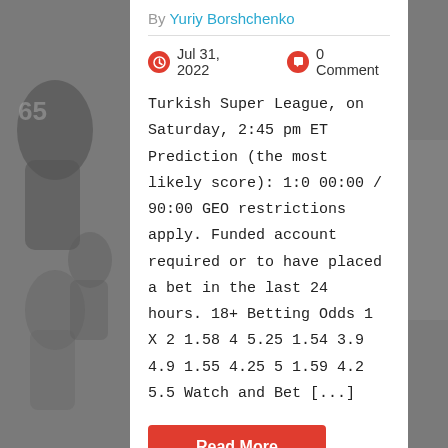By Yuriy Borshchenko
Jul 31, 2022   0 Comment
Turkish Super League, on Saturday, 2:45 pm ET Prediction (the most likely score): 1:0 00:00 / 90:00 GEO restrictions apply. Funded account required or to have placed a bet in the last 24 hours. 18+ Betting Odds 1 X 2 1.58 4 5.25 1.54 3.9 4.9 1.55 4.25 5 1.59 4.2 5.5 Watch and Bet [...]
Read More